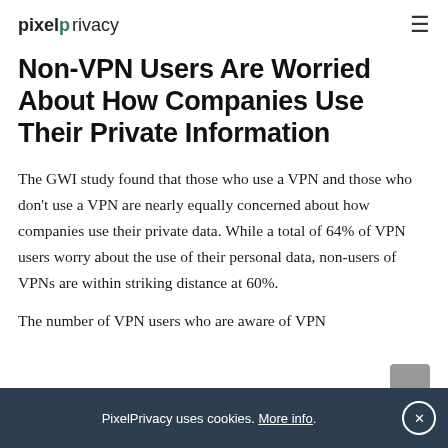pixelprivacy
Non-VPN Users Are Worried About How Companies Use Their Private Information
The GWI study found that those who use a VPN and those who don't use a VPN are nearly equally concerned about how companies use their private data. While a total of 64% of VPN users worry about the use of their personal data, non-users of VPNs are within striking distance at 60%.
The number of VPN users who are aware of VPN
PixelPrivacy uses cookies. More info.